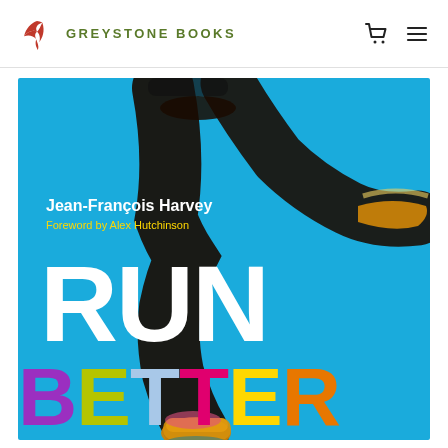GREYSTONE BOOKS
[Figure (photo): Book cover of 'Run Better' by Jean-François Harvey, foreword by Alex Hutchinson. Bright blue background with large white 'RUN' text and multicolored 'BETTER' text. A runner's legs and running shoes are shown mid-stride from above.]
RUN BETTER
Jean-François Harvey
Foreword by Alex Hutchinson